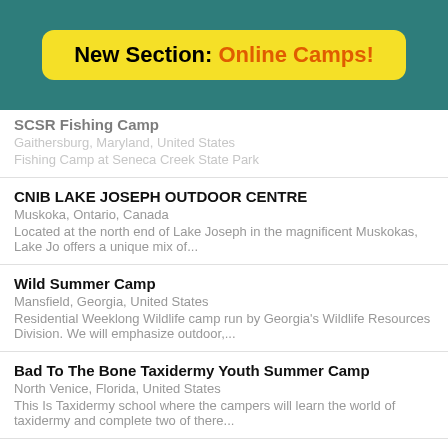New Section: Online Camps!
SCSR Fishing Camp
Gaithersburg, Maryland, United States
Fishing Camp at Seneca Creek State Park
CNIB LAKE JOSEPH OUTDOOR CENTRE
Muskoka, Ontario, Canada
Located at the north end of Lake Joseph in the magnificent Muskokas, Lake Jo offers a unique mix of...
Wild Summer Camp
Mansfield, Georgia, United States
Residential Weeklong Wildlife camp run by Georgia's Wildlife Resources Division. We will emphasize outdoor,...
Bad To The Bone Taxidermy Youth Summer Camp
North Venice, Florida, United States
This Is Taxidermy school where the campers will learn the world of taxidermy and complete two of there...
Camp Arrowhead for Boys